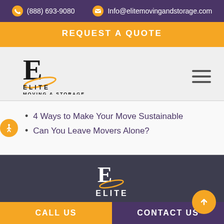(888) 693-9080   Info@elitemovingandstorage.com
REQUEST A QUOTE
[Figure (logo): Elite Moving & Storage logo with stylized E and orange swoosh]
4 Ways to Make Your Move Sustainable
Can You Leave Movers Alone?
[Figure (logo): Elite Moving & Storage white logo on dark background]
ELITE
CALL US   CONTACT US